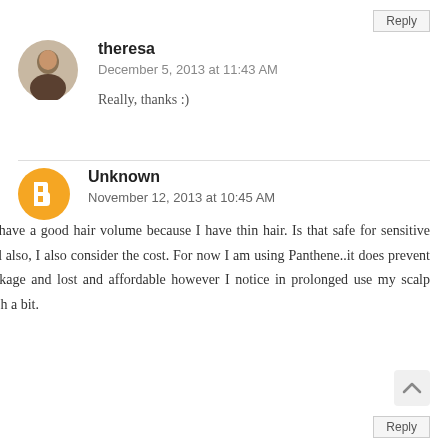Reply
[Figure (photo): Circular avatar photo of a young woman named theresa]
theresa
December 5, 2013 at 11:43 AM
Really, thanks :)
[Figure (logo): Orange circle with white blogger B icon for Unknown user]
Unknown
November 12, 2013 at 10:45 AM
I like to have a good hair volume because I have thin hair. Is that safe for sensitive skin? and also, I also consider the cost. For now I am using Panthene..it does prevent hair breakage and lost and affordable however I notice in prolonged use my scalp would itch a bit.
Reply